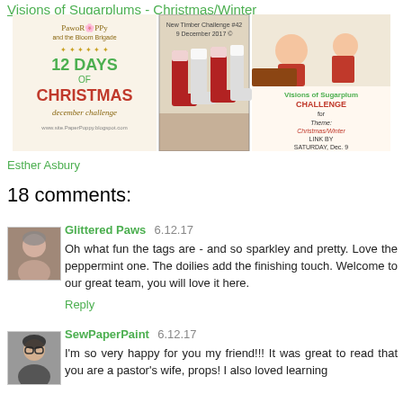Visions of Sugarplums - Christmas/Winter
[Figure (illustration): Three banner images side by side: PaperPoppy 12 Days of Christmas December Challenge, a photo of Christmas stockings hung on a wall, and Visions of Sugarplum Challenge for Theme Christmas/Winter Link By Saturday Dec 9.]
Esther Asbury
18 comments:
[Figure (photo): Avatar photo of commenter Glittered Paws, an older woman.]
Glittered Paws  6.12.17
Oh what fun the tags are - and so sparkley and pretty. Love the peppermint one. The doilies add the finishing touch. Welcome to our great team, you will love it here.
Reply
[Figure (photo): Avatar photo of commenter SewPaperPaint, a woman with glasses.]
SewPaperPaint  6.12.17
I'm so very happy for you my friend!!! It was great to read that you are a pastor's wife, props! I also loved learning